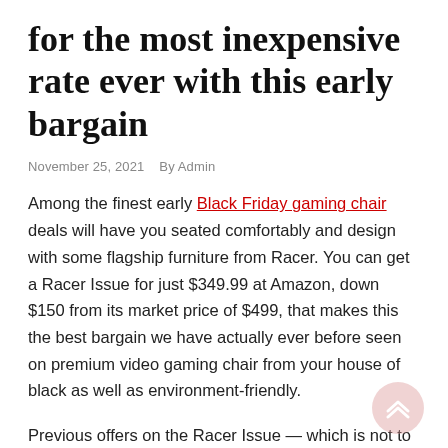for the most inexpensive rate ever with this early bargain
November 25, 2021   By Admin
Among the finest early Black Friday gaming chair deals will have you seated comfortably and design with some flagship furniture from Racer. You can get a Racer Issue for just $349.99 at Amazon, down $150 from its market price of $499, that makes this the best bargain we have actually ever before seen on premium video gaming chair from your house of black as well as environment-friendly.
Previous offers on the Racer Issue — which is not to be perplexed with its more inexpensive counterpart the Racer Issue X — have formerly swept around the $400